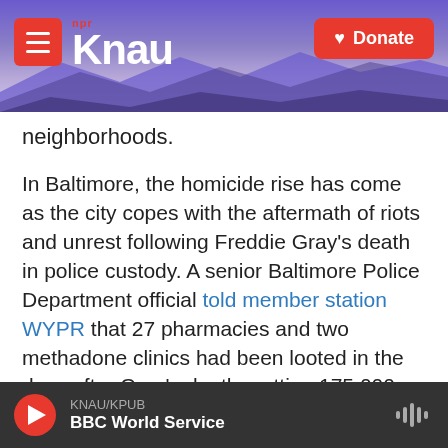KNAU NPR - Donate
neighborhoods.
In Baltimore, the homicide rise has come as the city copes with the aftermath of riots and unrest following Freddie Gray's death in police custody. A senior Baltimore Police Department official told member station WYPR that 27 pharmacies and two methadone clinics had been looted in the days after Gray's death, putting 175,000 doses of oxycontin and other prescription drugs on the street — and setting off turf wars between drug dealers.
In August, law enforcement officials from around
KNAU/KPUB - BBC World Service